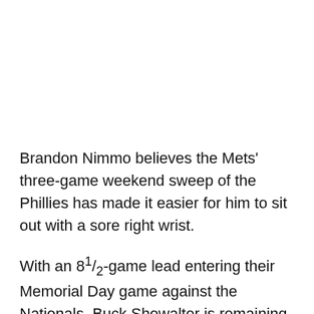Brandon Nimmo believes the Mets' three-game weekend sweep of the Phillies has made it easier for him to sit out with a sore right wrist.
With an 8½-game lead entering their Memorial Day game against the Nationals, Buck Showalter is remaining patient with two of his lineup staples, Nimmo and Jeff McNeil.
While Nimmo remained sidelined for at least one